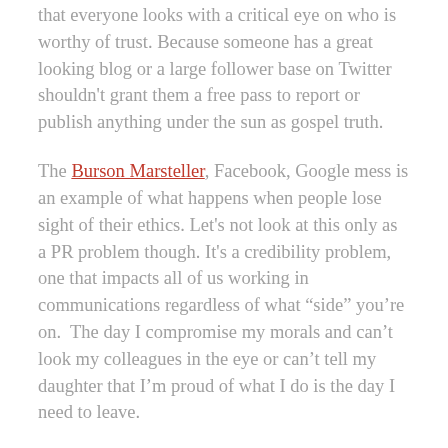that everyone looks with a critical eye on who is worthy of trust. Because someone has a great looking blog or a large follower base on Twitter shouldn't grant them a free pass to report or publish anything under the sun as gospel truth.
The Burson Marsteller, Facebook, Google mess is an example of what happens when people lose sight of their ethics. Let's not look at this only as a PR problem though. It's a credibility problem, one that impacts all of us working in communications regardless of what “side” you’re on.  The day I compromise my morals and can't look my colleagues in the eye or can't tell my daughter that I'm proud of what I do is the day I need to leave.
I think a real discussion of the issues facing PR, media, and bloggers would be outstanding and I'd